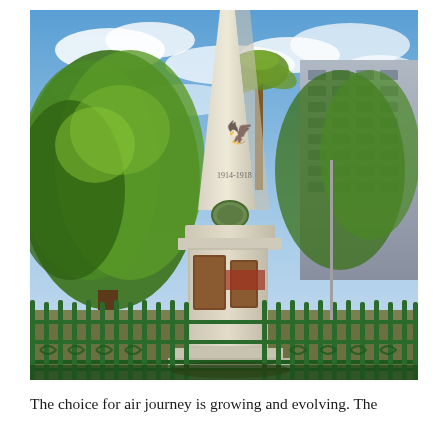[Figure (photo): Outdoor photograph of a tall white obelisk war memorial with bronze plaques and an eagle emblem, surrounded by ornate dark green iron fence railings. Large green trees are visible to the left and behind the monument. A modern multi-storey building is visible in the background on the right. The sky is partly cloudy and blue.]
The choice for air journey is growing and evolving. The